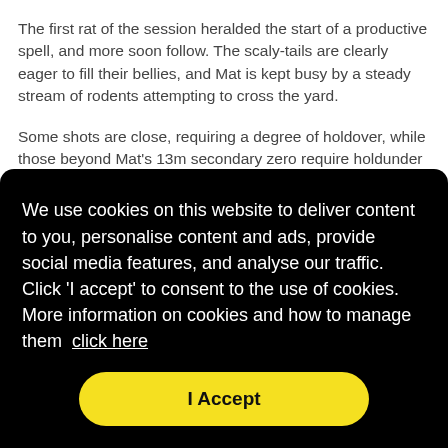The first rat of the session heralded the start of a productive spell, and more soon follow. The scaly-tails are clearly eager to fill their bellies, and Mat is kept busy by a steady stream of rodents attempting to cross the yard.
Some shots are close, requiring a degree of holdover, while those beyond Mat's 13m secondary zero require holdunder to stay on target. Getting aim-off right is
We use cookies on this website to deliver content to you, personalise content and ads, provide social media features, and analyse our traffic. Click 'I accept' to consent to the use of cookies. More information on cookies and how to manage them click here
I Accept